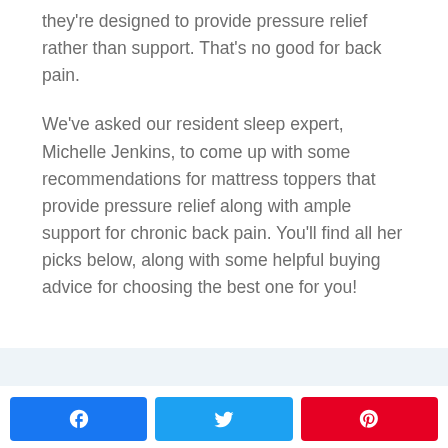they're designed to provide pressure relief rather than support. That's no good for back pain.
We've asked our resident sleep expert, Michelle Jenkins, to come up with some recommendations for mattress toppers that provide pressure relief along with ample support for chronic back pain. You'll find all her picks below, along with some helpful buying advice for choosing the best one for you!